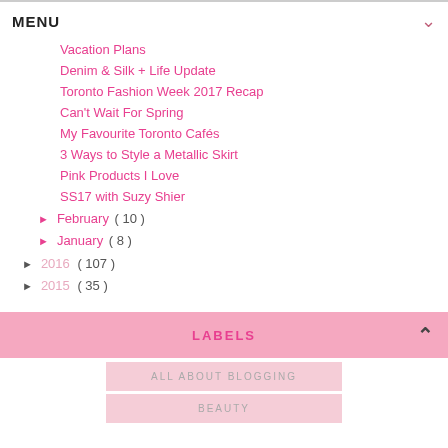MENU
Vacation Plans
Denim & Silk + Life Update
Toronto Fashion Week 2017 Recap
Can't Wait For Spring
My Favourite Toronto Cafés
3 Ways to Style a Metallic Skirt
Pink Products I Love
SS17 with Suzy Shier
► February ( 10 )
► January ( 8 )
► 2016 ( 107 )
► 2015 ( 35 )
LABELS
ALL ABOUT BLOGGING
BEAUTY